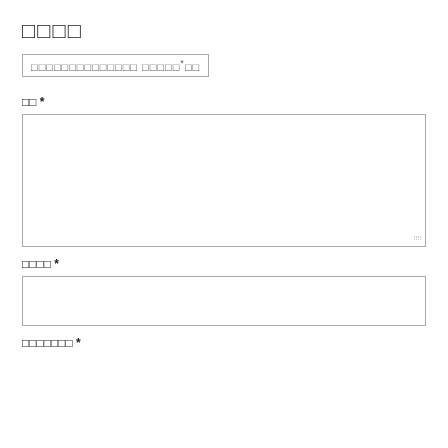□□□□
□□□□□□□□□□□□□□ □□□□□*□□
□□ *
[Figure (other): Large empty text area input box with resize handle]
□□□□ *
[Figure (other): Small empty text area input box]
□□□□□□□ *